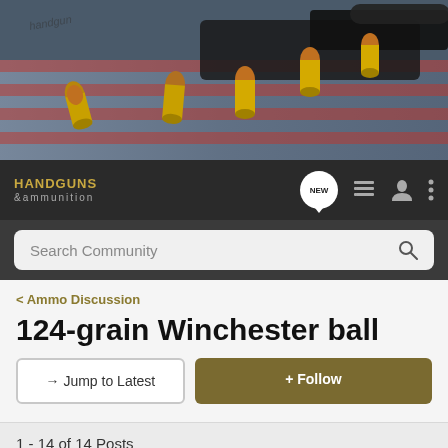[Figure (photo): Close-up photo of brass bullet cartridges on a surface with an American flag and a dark handgun in the background]
[Figure (logo): Handguns & Ammunition forum logo with navigation icons including NEW button, list icon, user icon, and menu]
Search Community
< Ammo Discussion
124-grain Winchester ball
→ Jump to Latest
+ Follow
1 - 14 of 14 Posts
lelandray · Registered
Joined Dec 2, 2004 · 1,442 Posts